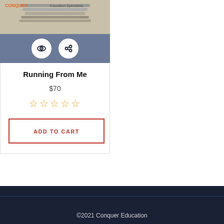[Figure (photo): Product image area with stacked books/materials, orange brand text 'CONQUER' and 'Education Specialists' label at top]
[Figure (other): Dark blue/grey overlay bar with two circular white icon buttons: an eye icon and a chain/link icon]
Running From Me
$70
★★★★★ (empty stars rating)
ADD TO CART
©2021 Conquer Education